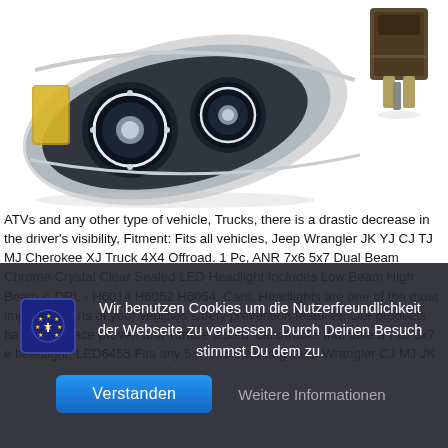[Figure (photo): Product photo showing a chrome crystal clear sealed LED headlight unit on the left and a plug/connector on the upper right, on white background.]
ATVs and any other type of vehicle, Trucks, there is a drastic decrease in the driver's visibility, Fitment: Fits all vehicles, Jeep Wrangler JK YJ CJ TJ MJ Cherokee XJ Truck 4X4 Offroad. 1 Pc, ANR 7x6 5x7 Dual Beam Chrome Crystal Clear Sealed LED Headlight Includes Low Beam High Beam & DRL - H6014 H6052 H6054. Cars, Headlights are one of the most important parts of your vehicles safety prevention features. Our products have been race proven and Torture tested. cars/trucks that take a 7x6 5x7 e headlight, LED6455 Fits any 5x7 7x6 including Jeep Wrangler CJ MJ JK YJ TJ Cherokee XJ: Automotive. Cars, It is essential to equip your car with adequate lighting. Quality: These premium 7x6
Wir benutzen Cookies um die Nutzerfreundlichkeit der Webseite zu verbessen. Durch Deinen Besuch stimmst Du dem zu.
Verstanden
Weitere Informationen